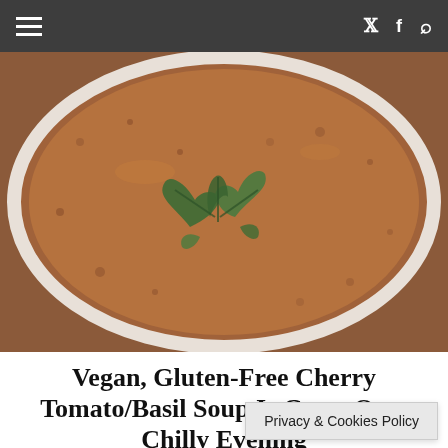≡  𝕏 f 🔍
[Figure (photo): Overhead view of a bowl of reddish-brown tomato soup garnished with fresh basil leaves in the center, photographed from above showing a white bowl.]
Vegan, Gluten-Free Cherry Tomato/Basil Soup Is Great On a Chilly Evening
OCTOBER 7, 2020
We finally made it to h couldn't be happier! Nothing is bet n a bowl of
Privacy & Cookies Policy